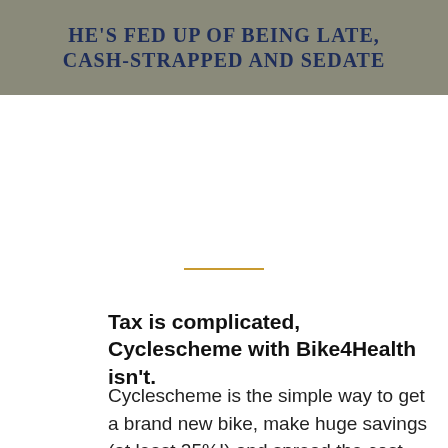[Figure (photo): A book or sign cover with dark olive/grey background showing bold serif uppercase text: 'HE'S FED UP OF BEING LATE, CASH-STRAPPED AND SEDATE']
Tax is complicated, Cyclescheme with Bike4Health isn't.
Cyclescheme is the simple way to get a brand new bike, make huge savings (at least 25%!) and spread the cost. Join today in 4 easy steps.